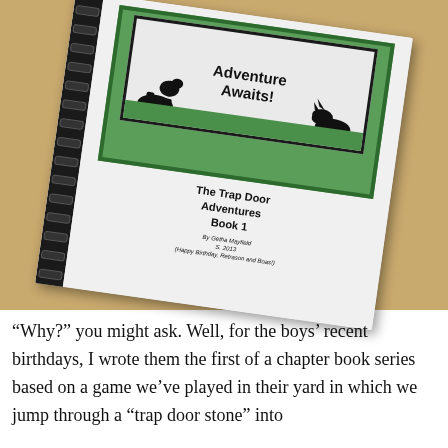[Figure (photo): A photo of a spiral-bound book lying on a wooden surface. The book cover shows 'Adventure Awaits!' at the top inside a green-bordered frame with two dinosaur silhouettes. Below reads 'The Trap Door Adventures Book 1' with a byline 'By Getha Mayfield S. 2013' and '(Happy Birthday, Retrason and Boas!)']
“Why?” you might ask. Well, for the boys’ recent birthdays, I wrote them the first of a chapter book series based on a game we’ve played in their yard in which we jump through a “trap door stone” into